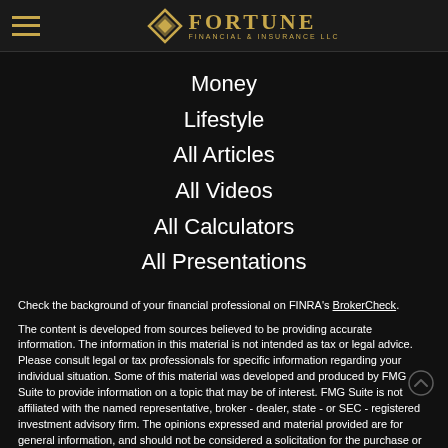Fortune Financial & Insurance LLC
Money
Lifestyle
All Articles
All Videos
All Calculators
All Presentations
Check the background of your financial professional on FINRA's BrokerCheck.
The content is developed from sources believed to be providing accurate information. The information in this material is not intended as tax or legal advice. Please consult legal or tax professionals for specific information regarding your individual situation. Some of this material was developed and produced by FMG Suite to provide information on a topic that may be of interest. FMG Suite is not affiliated with the named representative, broker - dealer, state - or SEC - registered investment advisory firm. The opinions expressed and material provided are for general information, and should not be considered a solicitation for the purchase or sale of any security.
We take protecting your data and privacy very seriously. As of January 1, 2020 the